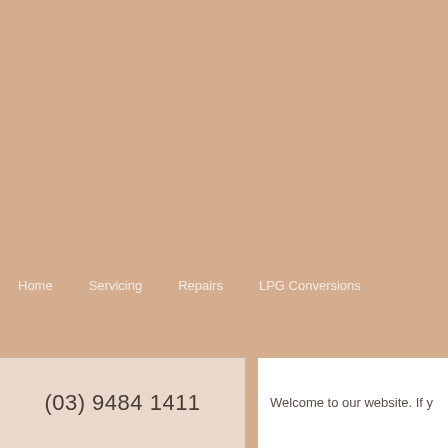Home   Servicing   Repairs   LPG Conversions
(03) 9484 1411
Welcome to our website. If y...